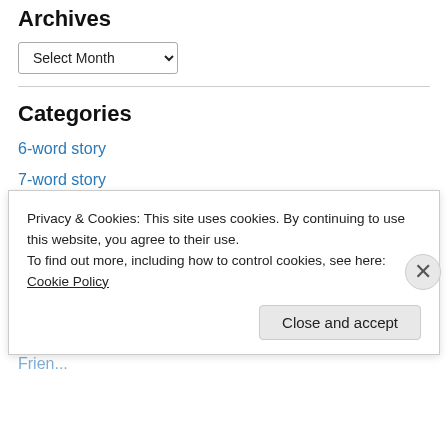Archives
Select Month
Categories
6-word story
7-word story
A-Z Challenge
American History
Blessings of the Faithful
Book Excerpts
Family Life
Privacy & Cookies: This site uses cookies. By continuing to use this website, you agree to their use.
To find out more, including how to control cookies, see here: Cookie Policy
Close and accept